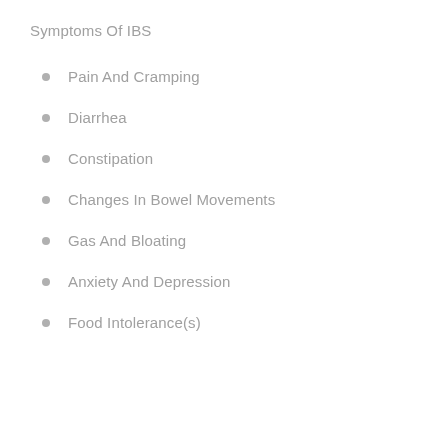Symptoms Of IBS
Pain And Cramping
Diarrhea
Constipation
Changes In Bowel Movements
Gas And Bloating
Anxiety And Depression
Food Intolerance(s)